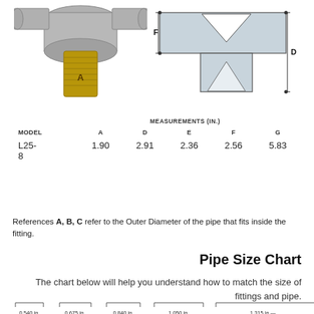[Figure (engineering-diagram): Photo of a pipe fitting (tee fitting) with brass threaded end labeled A, and a technical cross-section diagram showing the fitting profile with dimension labels F, D]
| MODEL | A | D | E | F | G |
| --- | --- | --- | --- | --- | --- |
| L25-8 | 1.90 | 2.91 | 2.36 | 2.56 | 5.83 |
References A, B, C refer to the Outer Diameter of the pipe that fits inside the fitting.
Pipe Size Chart
The chart below will help you understand how to match the size of fittings and pipe.
[Figure (engineering-diagram): Pipe size diagram showing cross-sections of pipes with outer diameter measurements: 0.540 in., 0.675 in., 0.840 in., 1.050 in., 1.315 in.]